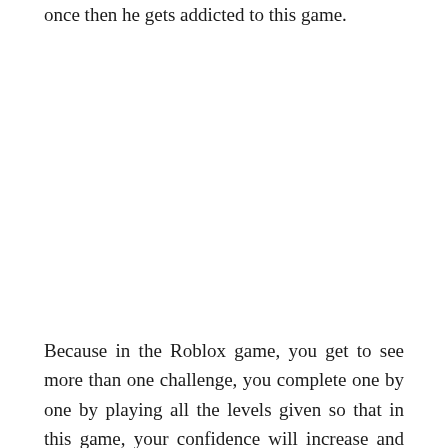once then he gets addicted to this game.
Because in the Roblox game, you get to see more than one challenge, you complete one by one by playing all the levels given so that in this game, your confidence will increase and the gameplay of the Roblox game will be in